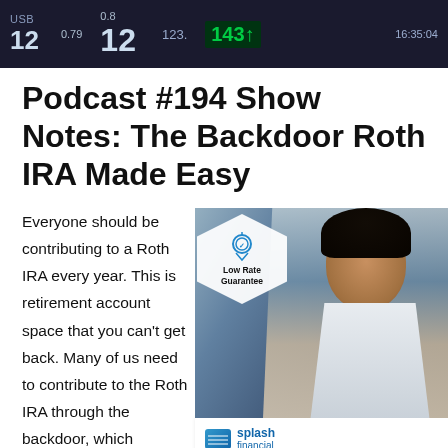[Figure (photo): Dark financial ticker board showing numbers including 12, 0.79, 0.8, 123, 143, 16:35:04]
Podcast #194 Show Notes: The Backdoor Roth IRA Made Easy
Everyone should be contributing to a Roth IRA every year. This is retirement account space that you can't get back. Many of us need to contribute to the Roth IRA through the backdoor, which
[Figure (photo): Advertisement for Splash Financial student loan refinancing showing a smiling female doctor in white coat with Low Rate Guarantee badge and text: STUDENT LOAN REFINANCING - Including a program for residents and fellows.]